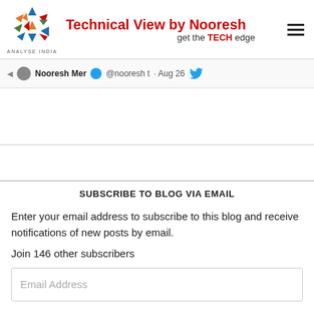[Figure (logo): Analyse India logo with colorful triangles/arrows arranged in a starburst pattern, with text 'ANALYSE INDIA' below]
Technical View by Nooresh — get the TECH edge
Nooresh Mer @nooresh t Aug 26 [Twitter strip]
SUBSCRIBE TO BLOG VIA EMAIL
Enter your email address to subscribe to this blog and receive notifications of new posts by email.
Join 146 other subscribers
Email Address